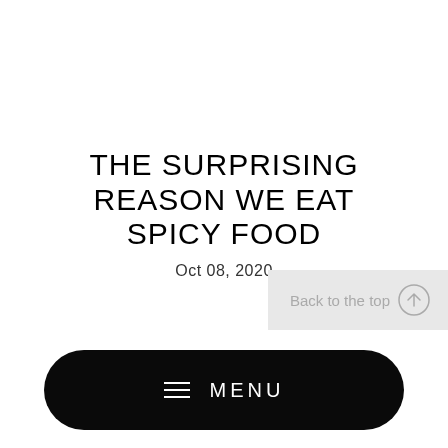THE SURPRISING REASON WE EAT SPICY FOOD
Oct 08, 2020
Back to the top
MENU